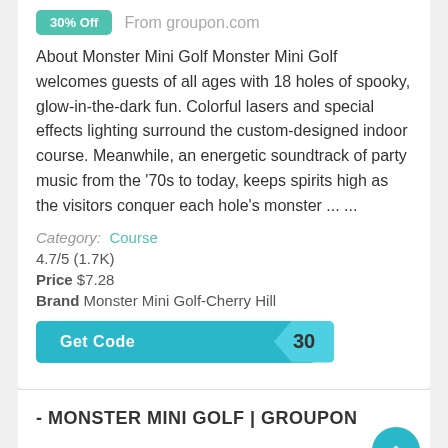[Figure (other): Teal badge showing '30% OFF' and text 'From groupon.com']
About Monster Mini Golf Monster Mini Golf welcomes guests of all ages with 18 holes of spooky, glow-in-the-dark fun. Colorful lasers and special effects lighting surround the custom-designed indoor course. Meanwhile, an energetic soundtrack of party music from the '70s to today, keeps spirits high as the visitors conquer each hole's monster ... ...
Category: Course
4.7/5 (1.7K)
Price $7.28
Brand Monster Mini Golf-Cherry Hill
[Figure (other): Teal 'Get Code 30' button]
- MONSTER MINI GOLF | GROUPON
Updated 2 months ago